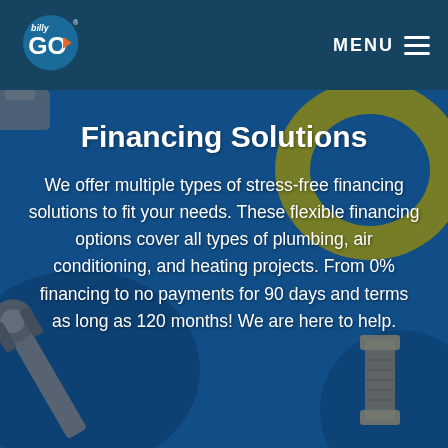[Figure (logo): BillyGO logo — orange and white text on dark blue header bar with navigation menu]
MENU
[Figure (photo): Background photo of plumbing tools including a wrench, pipe fittings, and a yellow ring/gasket on a blue background]
Financing Solutions
We offer multiple types of stress-free financing solutions to fit your needs. These flexible financing options cover all types of plumbing, air conditioning, and heating projects. From 0% financing to no payments for 90 days and terms as long as 120 months! We are here to help.